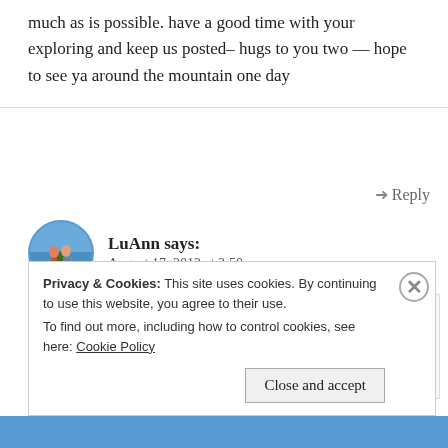much as is possible. have a good time with your exploring and keep us posted– hugs to you two — hope to see ya around the mountain one day
↳ Reply
LuAnn says: August 17, 2012 at 3:50 pm
[Figure (photo): Circular avatar photo of two hikers on a mountain trail]
Kay & Charlie, glad to hear that you enjoy following our travels. If you ever find us in a place where you have some
Privacy & Cookies: This site uses cookies. By continuing to use this website, you agree to their use. To find out more, including how to control cookies, see here: Cookie Policy
Close and accept